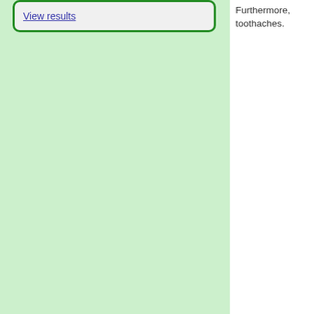View results
Furthermore, toothaches.